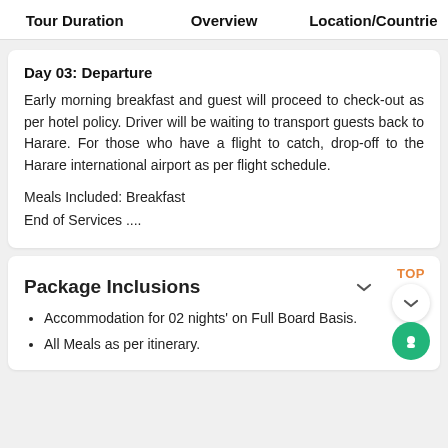Tour Duration   Overview   Location/Countries
Day 03: Departure
Early morning breakfast and guest will proceed to check-out as per hotel policy. Driver will be waiting to transport guests back to Harare. For those who have a flight to catch, drop-off to the Harare international airport as per flight schedule.
Meals Included: Breakfast
End of Services ....
Package Inclusions
Accommodation for 02 nights' on Full Board Basis.
All Meals as per itinerary.